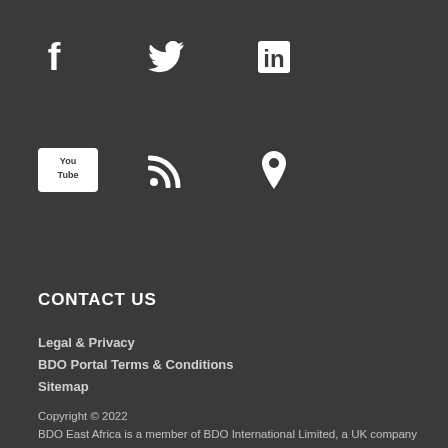[Figure (other): Social media icons row 1: Facebook, Twitter, LinkedIn]
[Figure (other): Social media icons row 2: YouTube, RSS feed, Location pin]
CONTACT US
Legal & Privacy
BDO Portal Terms & Conditions
Sitemap
Copyright © 2022
BDO East Africa is a member of BDO International Limited, a UK company limited by guarantee, and forms part of the international BDO network of independent firms.

BDO is the brand name for the BDO network and each of the BDO Member Firms.